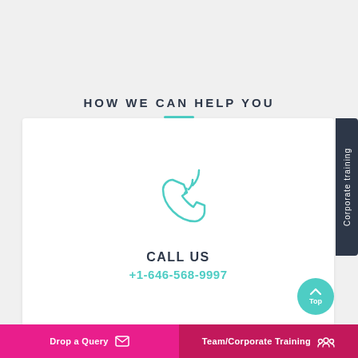HOW WE CAN HELP YOU
CALL US
+1-646-568-9997
Corporate training
Top
Drop a Query | Team/Corporate Training